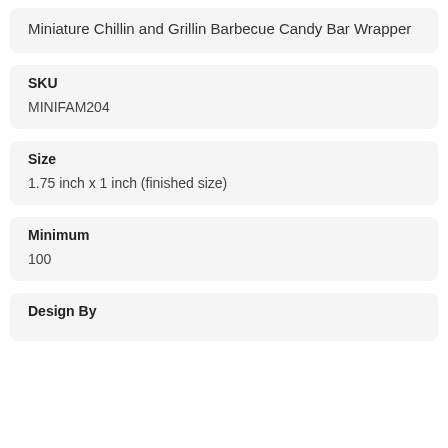Miniature Chillin and Grillin Barbecue Candy Bar Wrapper
SKU
MINIFAM204
Size
1.75 inch x 1 inch (finished size)
Minimum
100
Design By